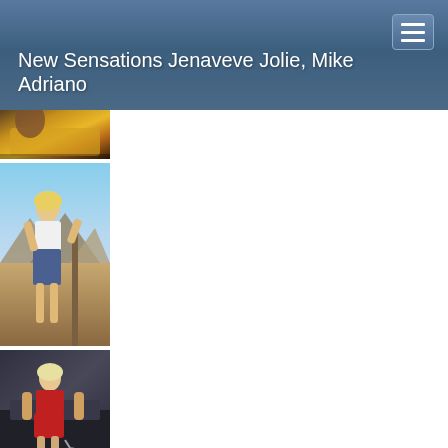New Sensations Jenaveve Jolie, Mike Adriano
[Figure (photo): Stack of three photos in left column: top shows person on yellow vehicle, middle shows blonde woman in white top and denim skirt outdoors in desert landscape, bottom shows blonde woman in red outfit]